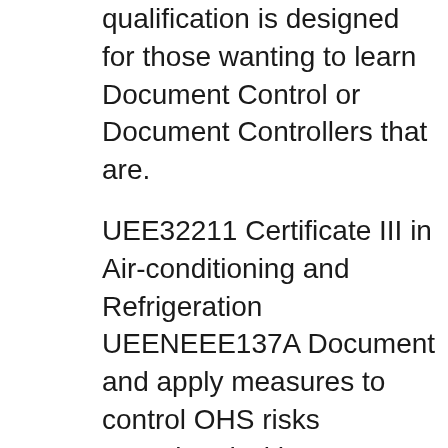qualification is designed for those wanting to learn Document Control or Document Controllers that are.
UEE32211 Certificate III in Air-conditioning and Refrigeration UEENEEE137A Document and apply measures to control OHS risks associated with electrotechnology Nationally recognized certificate III course in instrumentation and control. Enhances your PLC, HMI and Process Instrumentation skills.
Start Australia 's leading Home and Community Care Course, the Certificate III in Individual Support (Home and Community). Study and start online!